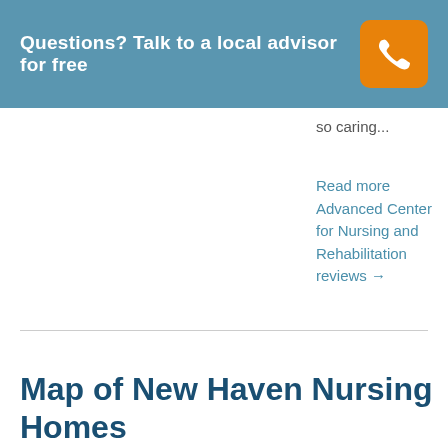Questions? Talk to a local advisor for free
so caring...
Read more Advanced Center for Nursing and Rehabilitation reviews →
Map of New Haven Nursing Homes